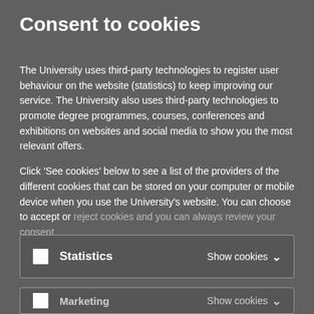Consent to cookies
The University uses third-party technologies to register user behaviour on the website (statistics) to keep improving our service. The University also uses third-party technologies to promote degree programmes, courses, conferences and exhibitions on websites and social media to show you the most relevant offers.
Click 'See cookies' below to see a list of the providers of the different cookies that can be stored on your computer or mobile device when you use the University's website. You can choose to accept or reject cookies and you can always review your consent
Statistics  Show cookies
Marketing  Show cookies